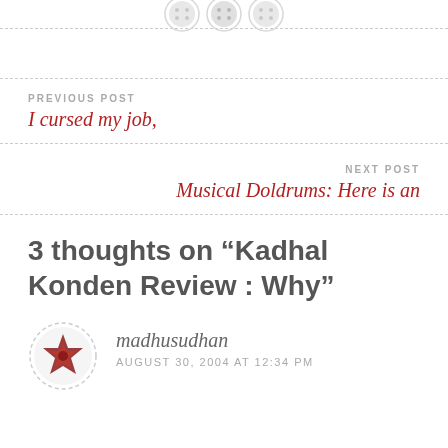[Figure (illustration): Three decorative button icons in a row, centered, light gray color, positioned above a dashed horizontal line.]
PREVIOUS POST
I cursed my job,
NEXT POST
Musical Doldrums: Here is an
3 thoughts on “Kadhal Konden Review : Why”
madhusudhan
AUGUST 30, 2004 AT 12:34 PM